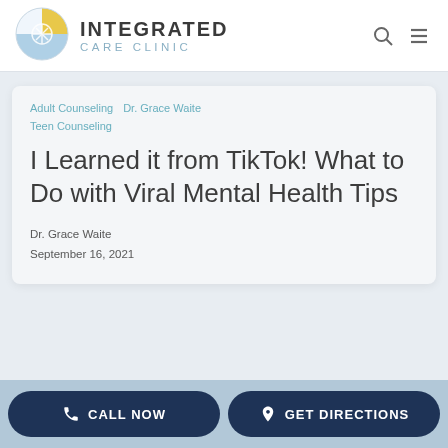[Figure (logo): Integrated Care Clinic logo with circular emblem showing a brain/leaf design in yellow, blue, and white]
INTEGRATED CARE CLINIC
Adult Counseling  Dr. Grace Waite  Teen Counseling
I Learned it from TikTok! What to Do with Viral Mental Health Tips
Dr. Grace Waite
September 16, 2021
CALL NOW  GET DIRECTIONS